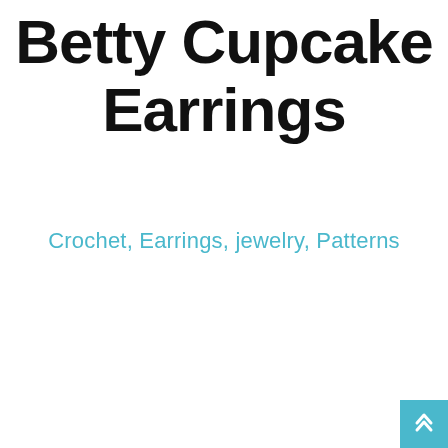Betty Cupcake Earrings
Crochet, Earrings, jewelry, Patterns